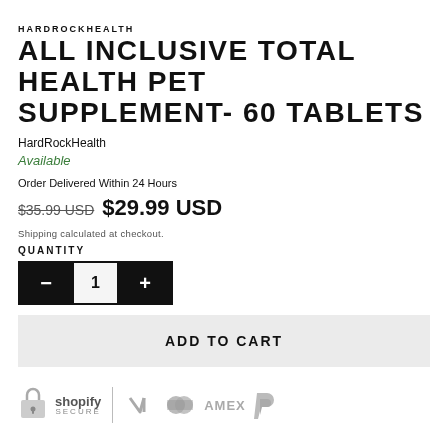HARDROCKHEALTH
ALL INCLUSIVE TOTAL HEALTH PET SUPPLEMENT- 60 TABLETS
HardRockHealth
Available
Order Delivered Within 24 Hours
$35.99 USD  $29.99 USD
Shipping calculated at checkout.
QUANTITY
[Figure (other): Quantity selector with minus button, value 1, and plus button]
ADD TO CART
[Figure (other): Payment trust badges: Shopify Secure lock icon, Visa, Mastercard, AMEX, PayPal logos]